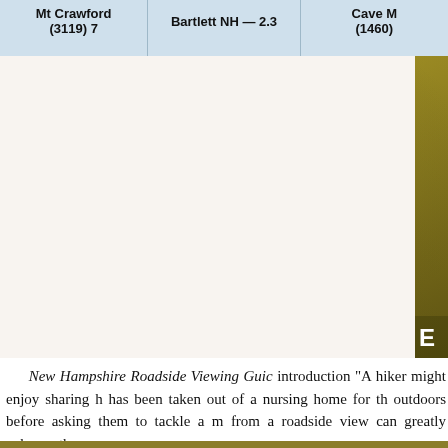| Mt Crawford (3119) 7 | Bartlett NH — 2.3 | Cave M (1460) |
| --- | --- | --- |
[Figure (photo): Large gold/olive-colored book cover or photograph panel with 'BRENT E' text visible in white bold letters at the bottom right]
New Hampshire Roadside Viewing Guid... introduction "A hiker might enjoy sharing h... has been taken out of a nursing home for th... outdoors before asking them to tackle a m... from a roadside view can greatly enhance th...
Brent's definition of "roadside" includes... chairlift or tram car. Yet he does not forget... of the road that bring peace to the heart.
This volume is a perfect-bound paperbac... it mostly in small New Hampshire bookst... sending a check or money order for $19.95...